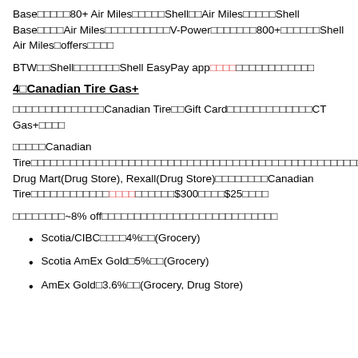Base□□□□□80+ Air Miles□□□□□Shell□□Air Miles□□□□□Shell Base□□□□Air Miles□□□□□□□□□□V-Power□□□□□□□800+□□□□□□Shell Air Miles□offers□□□□
BTW□□Shell□□□□□□□Shell EasyPay app□□□□□□□□□□□□□□□□
4□Canadian Tire Gas+
□□□□□□□□□□□□□□Canadian Tire□□Gift Card□□□□□□□□□□□□□CT Gas+□□□□
□□□□□Canadian Tire□□□□□□□□□□□□□□□□□□□□□□□□□□□□□□□□□□□□□□□□□□□□□□□□□□□□□□□□□□□□□□□□□□□□(Grocery)□Foodland(Grocery)□Sobeys(Grocery)□Shoppers Drug Mart(Drug Store), Rexall(Drug Store)□□□□□□□□Canadian Tire□□□□□□□□□□□□□□□□□□□□□$300□□□□$25□□□□
□□□□□□□□~8% off□□□□□□□□□□□□□□□□□□□□□□□□□□□
Scotia/CIBC□□□□4%□□(Grocery)
Scotia AmEx Gold□5%□□(Grocery)
AmEx Gold□3.6%□□(Grocery, Drug Store)